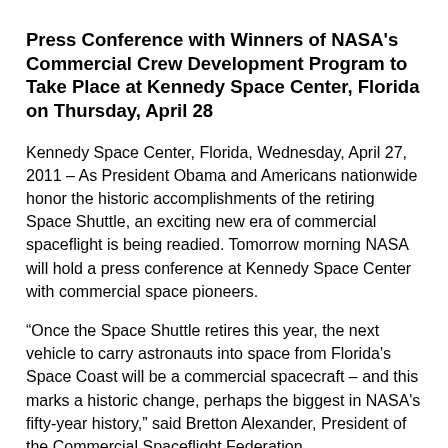Press Conference with Winners of NASA's Commercial Crew Development Program to Take Place at Kennedy Space Center, Florida on Thursday, April 28
Kennedy Space Center, Florida, Wednesday, April 27, 2011 – As President Obama and Americans nationwide honor the historic accomplishments of the retiring Space Shuttle, an exciting new era of commercial spaceflight is being readied. Tomorrow morning NASA will hold a press conference at Kennedy Space Center with commercial space pioneers.
“Once the Space Shuttle retires this year, the next vehicle to carry astronauts into space from Florida's Space Coast will be a commercial spacecraft – and this marks a historic change, perhaps the biggest in NASA's fifty-year history,” said Bretton Alexander, President of the Commercial Spaceflight Federation.
America’s space program received a huge boost earlier this month when NASA awarded $269 million in competitive agreements to four pioneering commercial space companies